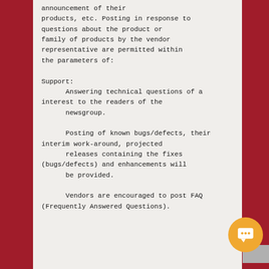announcement of their products, etc. Posting in response to questions about the product or family of products by the vendor representative are permitted within the parameters of:

Support:
        Answering technical questions of a interest to the readers of the
        newsgroup.

        Posting of known bugs/defects, their interim work-around, projected
        releases containing the fixes (bugs/defects) and enhancements will
        be provided.

        Vendors are encouraged to post FAQ (Frequently Answered Questions).